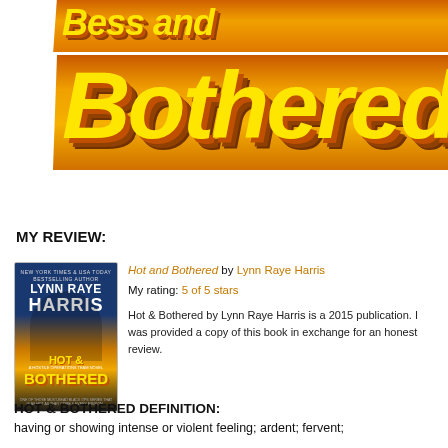[Figure (illustration): Stylized book title banner showing 'Bothered' in large yellow italic text with orange 3D shadow effect on orange banner stripe, and a partial second banner above it]
MY REVIEW:
[Figure (photo): Book cover of 'Hot & Bothered' by Lynn Raye Harris — shows muscular shirtless man, beach background, author name and title in bold text]
Hot and Bothered by Lynn Raye Harris
My rating: 5 of 5 stars

Hot & Bothered by Lynn Raye Harris is a 2015 publication. I was provided a copy of this book in exchange for an honest review.
HOT & BOTHERED DEFINITION:
having or showing intense or violent feeling; ardent; fervent;